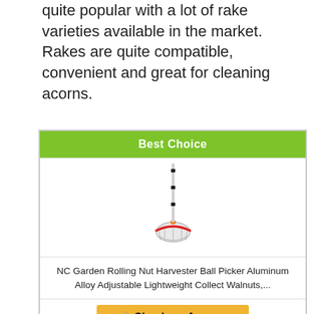quite popular with a lot of rake varieties available in the market. Rakes are quite compatible, convenient and great for cleaning acorns.
[Figure (other): Product card with green 'Best Choice' header banner, product image of NC Garden Rolling Nut Harvester (a long pole with a round basket collector at the bottom), product title text, and a yellow 'Check on Amazon' button.]
NC Garden Rolling Nut Harvester Ball Picker Aluminum Alloy Adjustable Lightweight Collect Walnuts,...
Check on Amazon